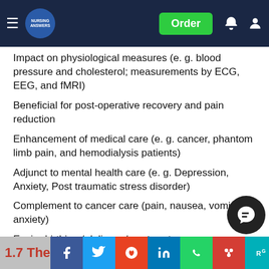Nursing Answers - Navigation bar with Order button
Impact on physiological measures (e. g. blood pressure and cholesterol; measurements by ECG, EEG, and fMRI)
Beneficial for post-operative recovery and pain reduction
Enhancement of medical care (e. g. cancer, phantom limb pain, and hemodialysis patients)
Adjunct to mental health care (e. g. Depression, Anxiety, Post traumatic stress disorder)
Complement to cancer care (pain, nausea, vomiting, anxiety)
Easier birthing / delivery / post-partum recovery
1.7 The e... ogy: